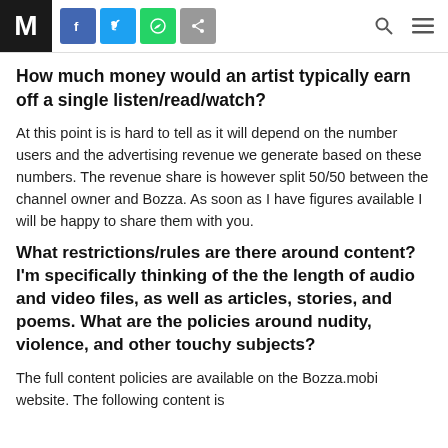M [social icons] [search] [menu]
How much money would an artist typically earn off a single listen/read/watch?
At this point is is hard to tell as it will depend on the number users and the advertising revenue we generate based on these numbers. The revenue share is however split 50/50 between the channel owner and Bozza. As soon as I have figures available I will be happy to share them with you.
What restrictions/rules are there around content? I'm specifically thinking of the the length of audio and video files, as well as articles, stories, and poems. What are the policies around nudity, violence, and other touchy subjects?
The full content policies are available on the Bozza.mobi website. The following content is